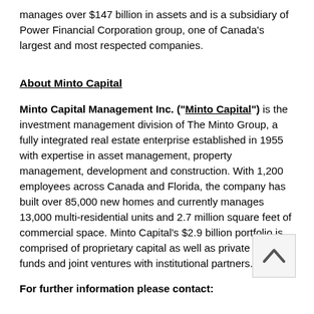manages over $147 billion in assets and is a subsidiary of Power Financial Corporation group, one of Canada's largest and most respected companies.
About Minto Capital
Minto Capital Management Inc. (“Minto Capital”) is the investment management division of The Minto Group, a fully integrated real estate enterprise established in 1955 with expertise in asset management, property management, development and construction. With 1,200 employees across Canada and Florida, the company has built over 85,000 new homes and currently manages 13,000 multi-residential units and 2.7 million square feet of commercial space. Minto Capital's $2.9 billion portfolio is comprised of proprietary capital as well as private equity funds and joint ventures with institutional partners.
For further information please contact: